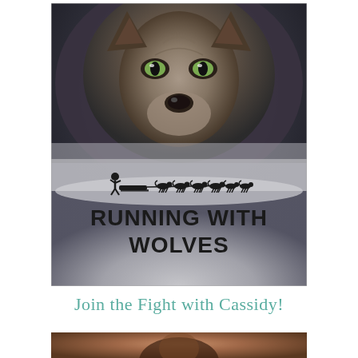[Figure (illustration): Book cover for 'Running With Wolves' showing a large wolf face looming in a dark stormy sky above a dog sled team silhouette. The title 'RUNNING WITH WOLVES' is displayed in bold dark text near the bottom of the cover image.]
Join the Fight with Cassidy!
[Figure (photo): Partial photo visible at the bottom of the page, appears to show a warm-toned image, possibly a person or scene.]